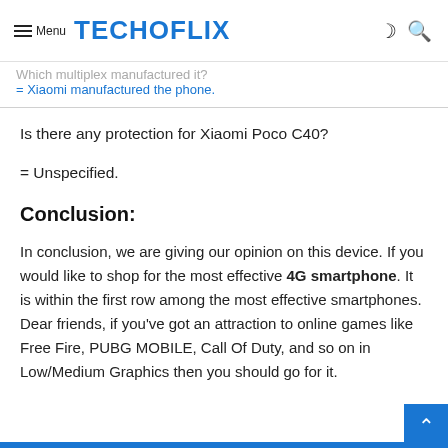Menu TECHOFLIX
Which multiplex manufactured it?
= Xiaomi manufactured the phone.
Is there any protection for Xiaomi Poco C40?
= Unspecified.
Conclusion:
In conclusion, we are giving our opinion on this device. If you would like to shop for the most effective 4G smartphone. It is within the first row among the most effective smartphones. Dear friends, if you've got an attraction to online games like Free Fire, PUBG MOBILE, Call Of Duty, and so on in Low/Medium Graphics then you should go for it.